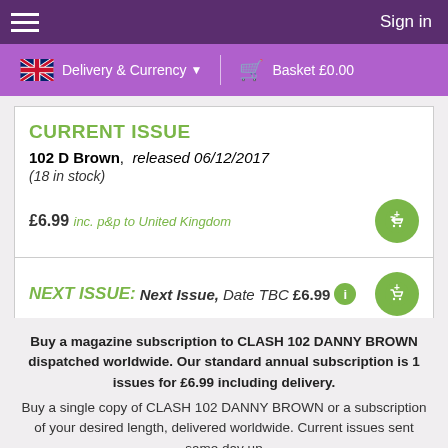Sign in
Delivery & Currency  Basket £0.00
CURRENT ISSUE
102 D Brown,  released 06/12/2017
(18 in stock)
£6.99 inc. p&p to United Kingdom
NEXT ISSUE: Next Issue, Date TBC £6.99
Buy a magazine subscription to CLASH 102 DANNY BROWN dispatched worldwide. Our standard annual subscription is 1 issues for £6.99 including delivery.
Buy a single copy of CLASH 102 DANNY BROWN or a subscription of your desired length, delivered worldwide. Current issues sent same day up